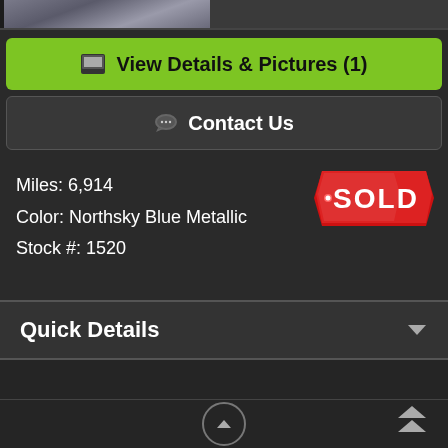[Figure (photo): Partial view of a vehicle photo strip at the top of the page]
🖼 View Details & Pictures (1)
💬 Contact Us
Miles: 6,914
Color: Northsky Blue Metallic
Stock #: 1520
[Figure (other): Red SOLD badge/sticker]
Quick Details